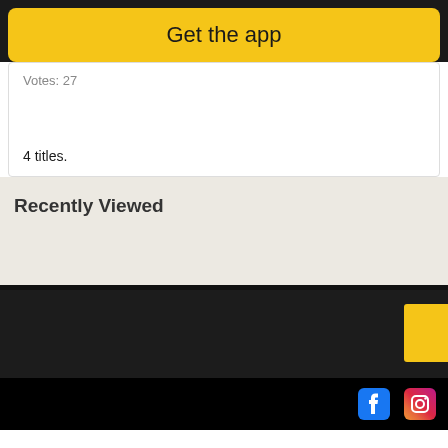[Figure (screenshot): Get the app yellow button on dark background]
Votes: 27
4 titles.
Recently Viewed
[Figure (screenshot): Yellow partial block in dark footer area]
Social media icons (Facebook, Instagram) on black background